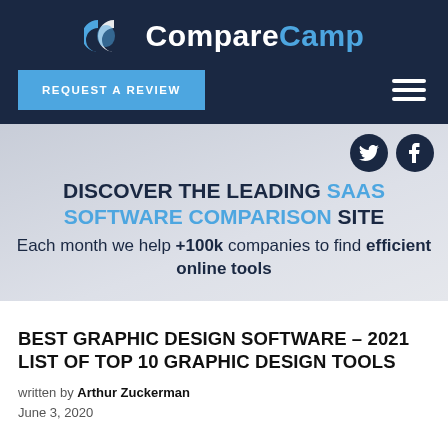[Figure (logo): CompareCamp logo with two interlocking C shapes in blue and white, and the text CompareCamp where Compare is white and Camp is blue]
REQUEST A REVIEW
[Figure (infographic): Hero banner with social icons (Twitter, Facebook), headline DISCOVER THE LEADING SAAS SOFTWARE COMPARISON SITE, and subtext Each month we help +100k companies to find efficient online tools]
BEST GRAPHIC DESIGN SOFTWARE – 2021 LIST OF TOP 10 GRAPHIC DESIGN TOOLS
written by Arthur Zuckerman
June 3, 2020